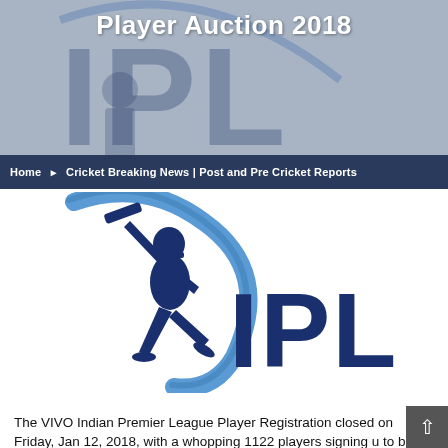Player Auction 2018
[Figure (logo): IPL logo header banner with cricket player silhouette and dark blue IPL letters on grey background]
Home ▸ Cricket Breaking News | Post and Pre Cricket Reports
[Figure (logo): VIVO IPL logo: cricket player silhouette in dark blue batting with blue arc swoosh, large dark blue IPL text on white background]
The VIVO Indian Premier League Player Registration closed on Friday, Jan 12, 2018, with a whopping 1122 players signing u to be a part of the mega VIVO IPL Player Auction 2018